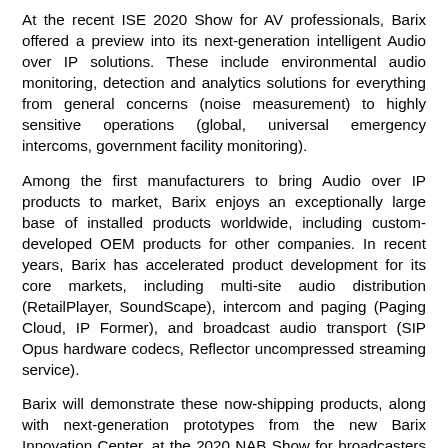At the recent ISE 2020 Show for AV professionals, Barix offered a preview into its next-generation intelligent Audio over IP solutions. These include environmental audio monitoring, detection and analytics solutions for everything from general concerns (noise measurement) to highly sensitive operations (global, universal emergency intercoms, government facility monitoring).
Among the first manufacturers to bring Audio over IP products to market, Barix enjoys an exceptionally large base of installed products worldwide, including custom-developed OEM products for other companies. In recent years, Barix has accelerated product development for its core markets, including multi-site audio distribution (RetailPlayer, SoundScape), intercom and paging (Paging Cloud, IP Former), and broadcast audio transport (SIP Opus hardware codecs, Reflector uncompressed streaming service).
Barix will demonstrate these now-shipping products, along with next-generation prototypes from the new Barix Innovation Center, at the 2020 NAB Show for broadcasters (April 19-22, Las Vegas Convention Center, Booth C1139) InfoComm 2020 for AV professionals (June 17-19, Las Vegas Convention Center, Booth C6150), and ISC West for